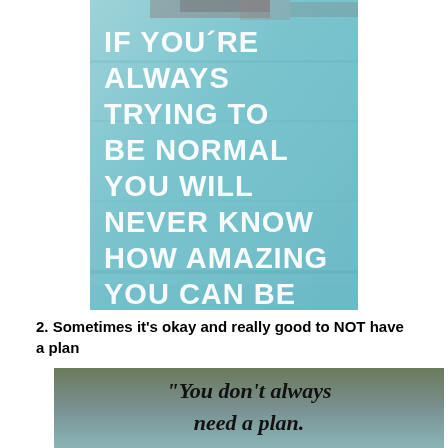[Figure (illustration): Light blue distressed/textured background with white bold uppercase text reading: IF YOU'RE ALWAYS TRYING TO BE NORMAL YOU WILL NEVER KNOW HOW AMAZING YOU CAN BE]
2. Sometimes it's okay and really good to NOT have a plan
[Figure (photo): Gradient background from dark olive/gray-green to teal with serif bold italic text reading: "You don't always need a plan."]